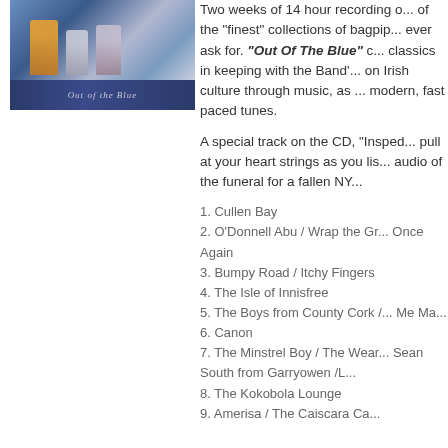[Figure (photo): Album cover image showing costumed figures against a blue/wintry background]
Two weeks of 14 hour recording of the "finest" collections of bagpipe music you could ever ask for. "Out Of The Blue" classics in keeping with the Band's focus on Irish culture through music, as well as modern, fast paced tunes.

A special track on the CD, "Inspector..." pull at your heart strings as you listen to audio of the funeral for a fallen NY...
1. Cullen Bay
2. O'Donnell Abu / Wrap the Gr... Once Again
3. Bumpy Road / Itchy Fingers
4. The Isle of Innisfree
5. The Boys from County Cork / Me Ma...
6. Canon
7. The Minstrel Boy / The Wear... Sean South from Garryowen /L...
8. The Kokobola Lounge
9. Amerisa / The Caiscara Ca...